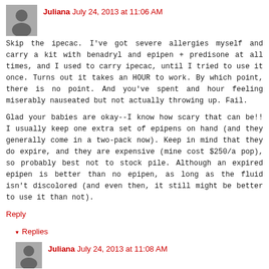Juliana July 24, 2013 at 11:06 AM
Skip the ipecac. I've got severe allergies myself and carry a kit with benadryl and epipen + predisone at all times, and I used to carry ipecac, until I tried to use it once. Turns out it takes an HOUR to work. By which point, there is no point. And you've spent and hour feeling miserably nauseated but not actually throwing up. Fail.
Glad your babies are okay--I know how scary that can be!! I usually keep one extra set of epipens on hand (and they generally come in a two-pack now). Keep in mind that they do expire, and they are expensive (mine cost $250/a pop), so probably best not to stock pile. Although an expired epipen is better than no epipen, as long as the fluid isn't discolored (and even then, it still might be better to use it than not).
Reply
▾ Replies
Juliana July 24, 2013 at 11:08 AM